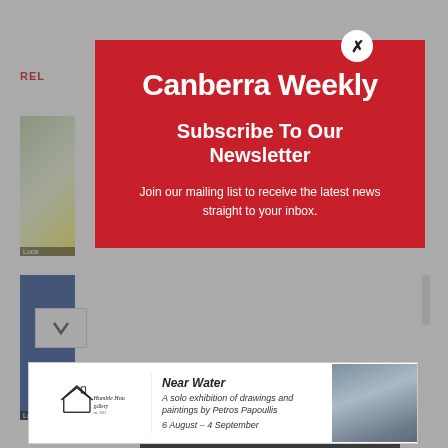[Figure (screenshot): Canberra Weekly website screenshot in background showing related articles section with image thumbnails and navigation chevron]
[Figure (screenshot): Modal popup dialog on Canberra Weekly website with newsletter subscription form. Contains logo 'Canberra Weekly', subscribe heading, description text, email input field, and subscribe button. Red background with white text and an X close button.]
Canberra Weekly
Subscribe To Our Newsletter
Join our mailing list to receive the latest news straight to your inbox.
Email
SUBSCRIBE!
[Figure (illustration): Bottom advertisement for Humble House Gallery showing 'Near Water' exhibition - a solo exhibition of drawings and paintings by Petros Papoullis, 6 August – 4 September]
Near Water
A solo exhibition of drawings and paintings by Petros Papoullis
6 August – 4 September